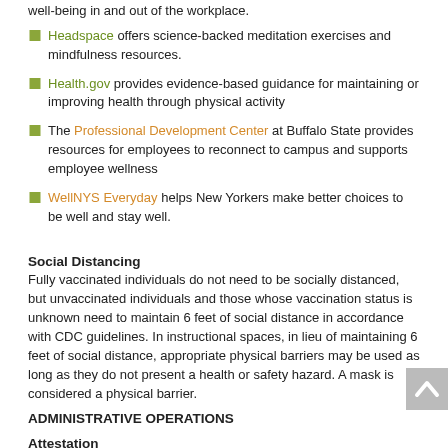well-being in and out of the workplace.
Headspace offers science-backed meditation exercises and mindfulness resources.
Health.gov provides evidence-based guidance for maintaining or improving health through physical activity
The Professional Development Center at Buffalo State provides resources for employees to reconnect to campus and supports employee wellness
WellNYS Everyday helps New Yorkers make better choices to be well and stay well.
Social Distancing
Fully vaccinated individuals do not need to be socially distanced, but unvaccinated individuals and those whose vaccination status is unknown need to maintain 6 feet of social distance in accordance with CDC guidelines. In instructional spaces, in lieu of maintaining 6 feet of social distance, appropriate physical barriers may be used as long as they do not present a health or safety hazard. A mask is considered a physical barrier.
ADMINISTRATIVE OPERATIONS
Attestation
Every campus employee reporting to work in person must affirm that he or she has read and understands the Guidance for State Agencies and Authorities during the COVID-19 Public Health Public Emergency. Please follow the link to read the guidance and attest that you understand its provisions and will adhere to its requirements.
Building Access
Buffalo State has returned to the schedule for building opening and closing used prior to COVID-19.  Under the normal schedule, all doors on academic and